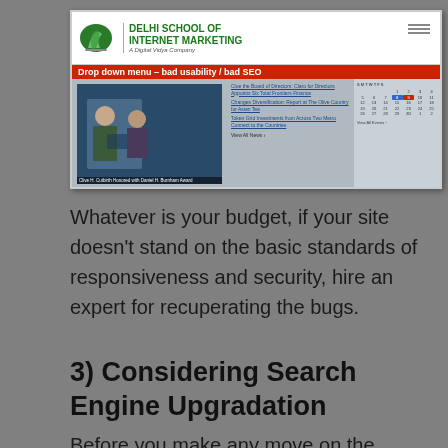[Figure (screenshot): Screenshot of Delhi School Of Internet Marketing website showing header with logo, drop-down menu navigation bar, news content with photo of two people, news links, and a calendar widget]
Whatever is your budget, if your site doesn't stand on the basic standards of responsiveness and security, hire an expert for recuperating the bugs.
3) Considering Search Engine Upgradation
Before you make any move on the search